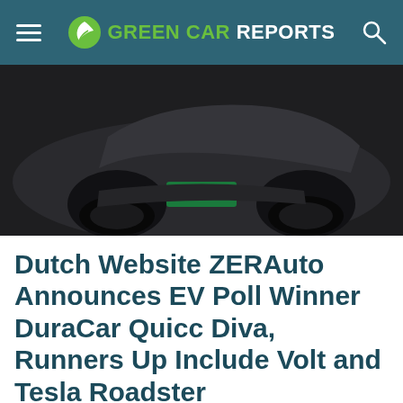GREEN CAR REPORTS
[Figure (photo): Close-up of a dark-colored electric car, showing the front/lower portion with a Dutch license plate reading HB 97-17, on a dark background.]
Dutch Website ZERAuto Announces EV Poll Winner DuraCar Quicc Diva, Runners Up Include Volt and Tesla Roadster
ERIC LOVEDAY